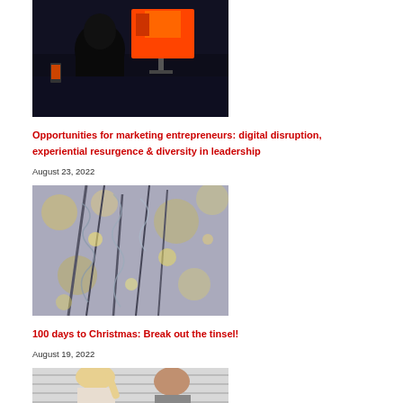[Figure (photo): Dark silhouette of a person sitting at a computer desk with a colorful monitor screen in the background]
Opportunities for marketing entrepreneurs: digital disruption, experiential resurgence & diversity in leadership
August 23, 2022
[Figure (photo): Close-up of silver tinsel Christmas tree branches with bokeh lights in the background]
100 days to Christmas: Break out the tinsel!
August 19, 2022
[Figure (photo): Two people, a woman and a man, partially visible at the bottom of the page]